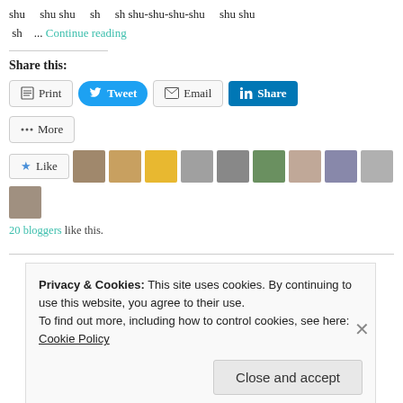shu    shu shu    sh    sh shu-shu-shu-shu    shu shu  sh    ... Continue reading
Share this:
[Figure (screenshot): Social sharing buttons: Print, Tweet, Email, Share (LinkedIn), More]
[Figure (screenshot): Like button with star and 10 blogger avatar thumbnails]
20 bloggers like this.
Privacy & Cookies: This site uses cookies. By continuing to use this website, you agree to their use. To find out more, including how to control cookies, see here: Cookie Policy
Close and accept